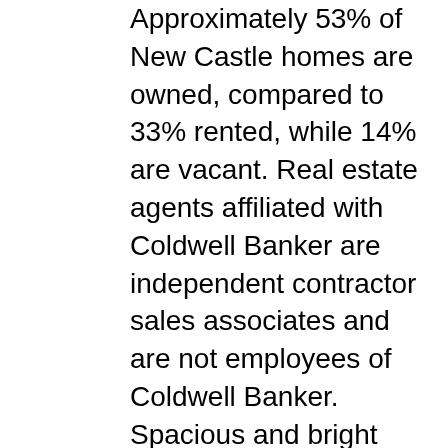Approximately 53% of New Castle homes are owned, compared to 33% rented, while 14% are vacant. Real estate agents affiliated with Coldwell Banker are independent contractor sales associates and are not employees of Coldwell Banker. Spacious and bright open floor plan. Save. New Castle, IN Real Estate — Homes For Sale in New Castle, IN. An entrepreneurial investor with institutional backing, the firm can deploy large amounts of capital and close transactions quickly. The Registered Agent on file for this company is Yolette M. Saintiny, Esq. What is the median home price in New Castle? Great location in your park like acre of flat property adjacent to a Natural preser. With an open concept Living Room, Dining area and Kitchen, this home makes for easy living. Walk-out lower level with large, Welcoming covered front porch leads to this pristine, move in condition end unit at desirable Pheasant Run. Check with the applicable school district prior to making a decision based on these results. 780 King Street, New Castle, NY 10514 - $2,485,000 Daily Voice 09/29/2020 12:41 a.m. In the past month, 35 homes have been sold in New...